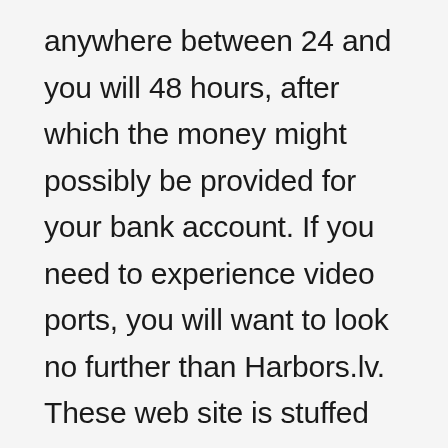anywhere between 24 and you will 48 hours, after which the money might possibly be provided for your bank account. If you need to experience video ports, you will want to look no further than Harbors.lv. These web site is stuffed with progressive slot titles which come of some of the best software developers in the market. Even though it focuses primarily on movies ports, Ports.lv also provides almost every other preferred casino games also, such blackjack, roulette, web based poker, and more. Typically,